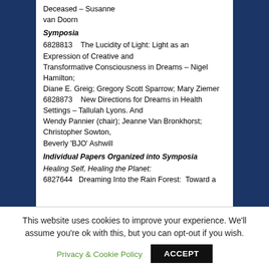Deceased – Susanne van Doorn
Symposia
6828813    The Lucidity of Light: Light as an Expression of Creative and Transformative Consciousness in Dreams – Nigel Hamilton; Diane E. Greig; Gregory Scott Sparrow; Mary Ziemer
6828873    New Directions for Dreams in Health Settings – Tallulah Lyons. And Wendy Pannier (chair); Jeanne Van Bronkhorst; Christopher Sowton, Beverly 'BJO' Ashwill
Individual Papers Organized into Symposia
Healing Self, Healing the Planet:
6827644    Dreaming Into the Rain Forest:  Toward a
This website uses cookies to improve your experience. We'll assume you're ok with this, but you can opt-out if you wish.
Privacy & Cookie Policy
ACCEPT